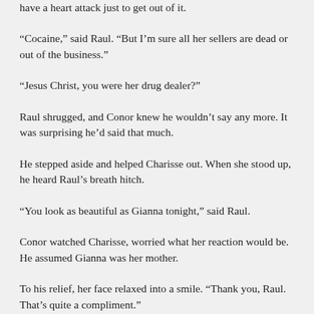have a heart attack just to get out of it.
“Cocaine,” said Raul. “But I’m sure all her sellers are dead or out of the business.”
“Jesus Christ, you were her drug dealer?”
Raul shrugged, and Conor knew he wouldn’t say any more. It was surprising he’d said that much.
He stepped aside and helped Charisse out. When she stood up, he heard Raul’s breath hitch.
“You look as beautiful as Gianna tonight,” said Raul.
Conor watched Charisse, worried what her reaction would be. He assumed Gianna was her mother.
To his relief, her face relaxed into a smile. “Thank you, Raul. That’s quite a compliment.”